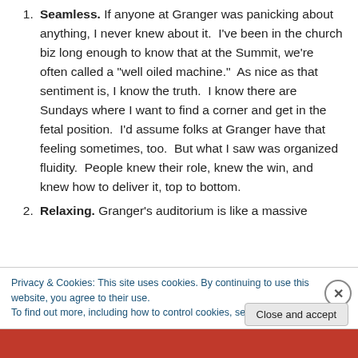Seamless. If anyone at Granger was panicking about anything, I never knew about it. I've been in the church biz long enough to know that at the Summit, we're often called a "well oiled machine." As nice as that sentiment is, I know the truth. I know there are Sundays where I want to find a corner and get in the fetal position. I'd assume folks at Granger have that feeling sometimes, too. But what I saw was organized fluidity. People knew their role, knew the win, and knew how to deliver it, top to bottom.
Relaxing. Granger's auditorium is like a massive
Privacy & Cookies: This site uses cookies. By continuing to use this website, you agree to their use. To find out more, including how to control cookies, see here: Cookie Policy